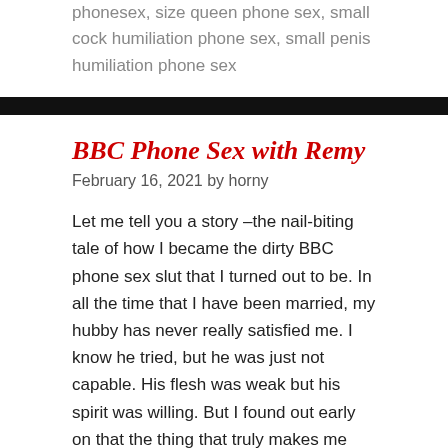phonesex, size queen phone sex, small cock humiliation phone sex, small penis humiliation phone sex
BBC Phone Sex with Remy
February 16, 2021 by horny
Let me tell you a story –the nail-biting tale of how I became the dirty BBC phone sex slut that I turned out to be. In all the time that I have been married, my hubby has never really satisfied me. I know he tried, but he was just not capable. His flesh was weak but his spirit was willing. But I found out early on that the thing that truly makes me squirt is a huge black cock!! I know that most people think